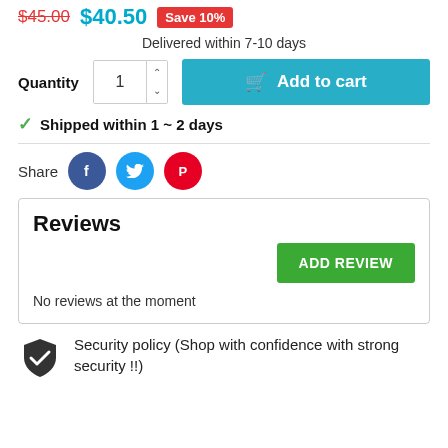$45.00  $40.50  Save 10%
Delivered within 7-10 days
Quantity  1  Add to cart
Shipped within 1 ~ 2 days
Share
Reviews
ADD REVIEW
No reviews at the moment
Security policy (Shop with confidence with strong security !!)